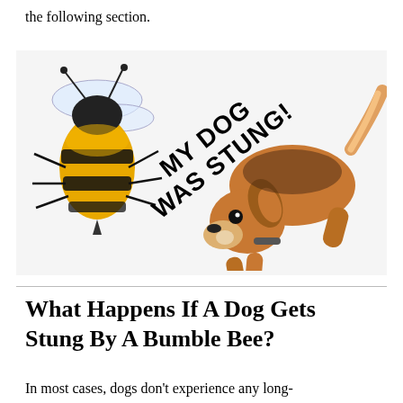the following section.
[Figure (illustration): A bumble bee on the left and a dog in a play-bow posture on the right, with bold diagonal text reading 'MY DOG WAS STUNG!' overlaid in the center.]
What Happens If A Dog Gets Stung By A Bumble Bee?
In most cases, dogs don't experience any long-